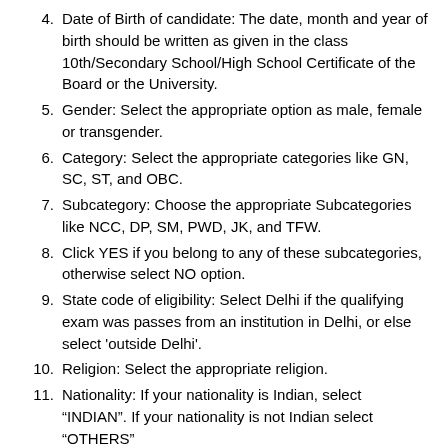4. Date of Birth of candidate: The date, month and year of birth should be written as given in the class 10th/Secondary School/High School Certificate of the Board or the University.
5. Gender: Select the appropriate option as male, female or transgender.
6. Category: Select the appropriate categories like GN, SC, ST, and OBC.
7. Subcategory: Choose the appropriate Subcategories like NCC, DP, SM, PWD, JK, and TFW.
8. Click YES if you belong to any of these subcategories, otherwise select NO option.
9. State code of eligibility: Select Delhi if the qualifying exam was passes from an institution in Delhi, or else select 'outside Delhi'.
10. Religion: Select the appropriate religion.
11. Nationality: If your nationality is Indian, select “INDIAN”. If your nationality is not Indian select “OTHERS”
12. Aadhaar NO: Provide your 12 digit valid AADHAR Number